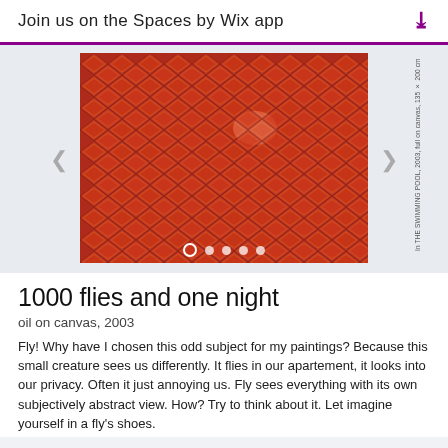Join us on the Spaces by Wix app
[Figure (photo): Abstract red oil painting with triangular faceted texture resembling overlapping scales or geometric shapes, with image carousel navigation dots at the bottom and vertical sidebar caption.]
1000 flies and one night
oil on canvas, 2003
Fly! Why have I chosen this odd subject for my paintings? Because this small creature sees us differently. It flies in our apartement, it looks into our privacy. Often it just annoying us. Fly sees everything with its own subjectively abstract view. How? Try to think about it. Let imagine yourself in a fly's shoes.